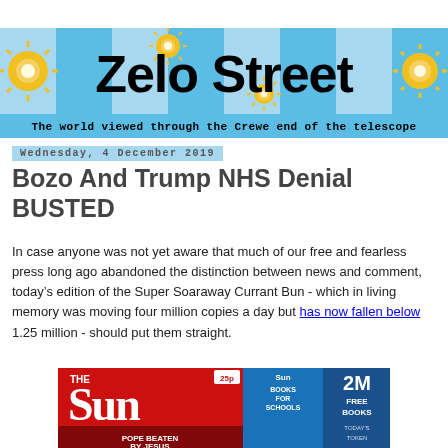[Figure (logo): Zelo Street blog header banner with sun decorations and subtitle 'The world viewed through the Crewe end of the telescope']
Wednesday, 4 December 2019
Bozo And Trump NHS Denial BUSTED
In case anyone was not yet aware that much of our free and fearless press long ago abandoned the distinction between news and comment, today’s edition of the Super Soaraway Currant Bun - which in living memory was moving four million copies a day but has now fallen below 1.25 million - should put them straight.
[Figure (photo): Front page of The Sun newspaper showing 'POPE BEATEN BY JESUS' headline, Sun Books for Schools promotion, 2M Free Books offer, and today's token]